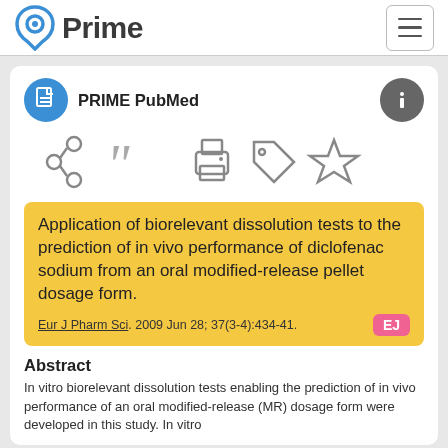Prime PubMed
Application of biorelevant dissolution tests to the prediction of in vivo performance of diclofenac sodium from an oral modified-release pellet dosage form.
Eur J Pharm Sci. 2009 Jun 28; 37(3-4):434-41.
Abstract
In vitro biorelevant dissolution tests enabling the prediction of in vivo performance of an oral modified-release (MR) dosage form were developed in this study. In vitro